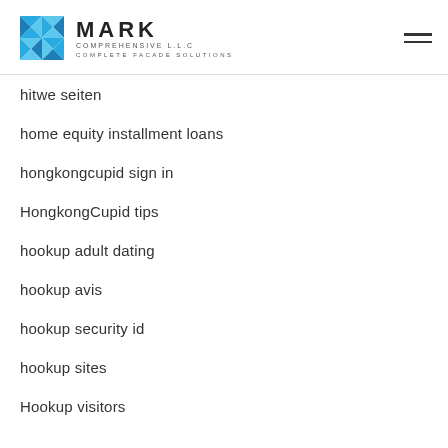MARK COMPREHENSIVE L.L.C — COMPLETE FACADE SOLUTIONS
hitwe seiten
home equity installment loans
hongkongcupid sign in
HongkongCupid tips
hookup adult dating
hookup avis
hookup security id
hookup sites
Hookup visitors